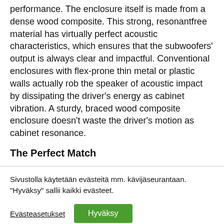performance. The enclosure itself is made from a dense wood composite. This strong, resonantfree material has virtually perfect acoustic characteristics, which ensures that the subwoofers' output is always clear and impactful. Conventional enclosures with flex-prone thin metal or plastic walls actually rob the speaker of acoustic impact by dissipating the driver's energy as cabinet vibration. A sturdy, braced wood composite enclosure doesn't waste the driver's motion as cabinet resonance.
The Perfect Match
Sivustolla käytetään evästeitä mm. kävijäseurantaan. "Hyväksy" sallii kaikki evästeet.
Evästeasetukset   Hyväksy